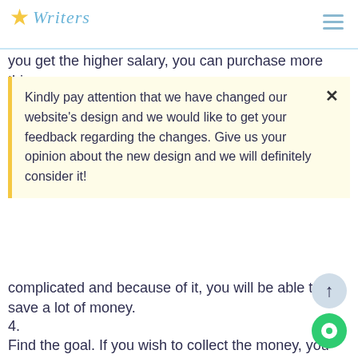Writers [logo with star]
you get the higher salary, you can purchase more things.
Kindly pay attention that we have changed our website's design and we would like to get your feedback regarding the changes. Give us your opinion about the new design and we will definitely consider it!
complicated and because of it, you will be able to save a lot of money.
4.
Find the goal. If you wish to collect the money, you need to set up the goal and do your best to reach it. If you do not have any goal in your life, it will be very difficult for you to collect money, because you will not have any motivation. If you set the goal, you will not spend money on different things, because you will be interested to purchase that one thing, which you are collecting the money for. Also, the